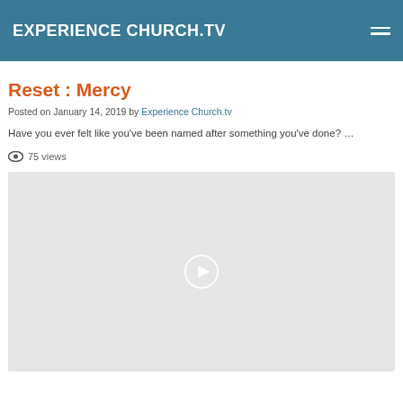EXPERIENCE CHURCH.TV
Reset : Mercy
Posted on January 14, 2019 by Experience Church.tv
Have you ever felt like you've been named after something you've done? …
75 views
[Figure (other): Video player placeholder with light gray background and a circular play button in the center]